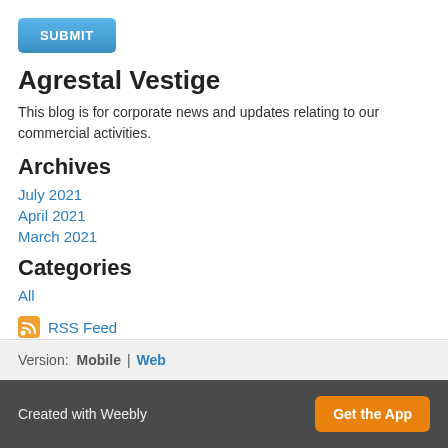[Figure (other): Blue SUBMIT button]
Agrestal Vestige
This blog is for corporate news and updates relating to our commercial activities.
Archives
July 2021
April 2021
March 2021
Categories
All
[Figure (other): RSS Feed icon with RSS Feed link]
Version: Mobile | Web
Created with Weebly   Get the App